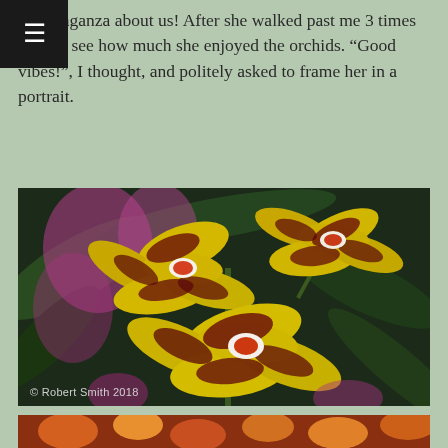extravaganza about us! After she walked past me 3 times I could see how much she enjoyed the orchids. "Good vibes!", I thought, and politely asked to frame her in a portrait.
[Figure (photo): Close-up photograph of yellow and dark red/maroon patterned Oncidium orchid flowers with blurred pink orchids in the background. Watermark reads '© Robert Smith 2018'.]
[Figure (photo): Partial bottom edge of another photograph, showing colorful flowers at a floral exhibition.]